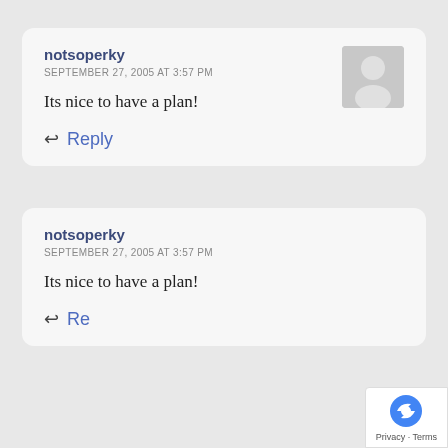notsoperky
SEPTEMBER 27, 2005 AT 3:57 PM
Its nice to have a plan!
Reply
notsoperky
SEPTEMBER 27, 2005 AT 3:57 PM
Its nice to have a plan!
Reply